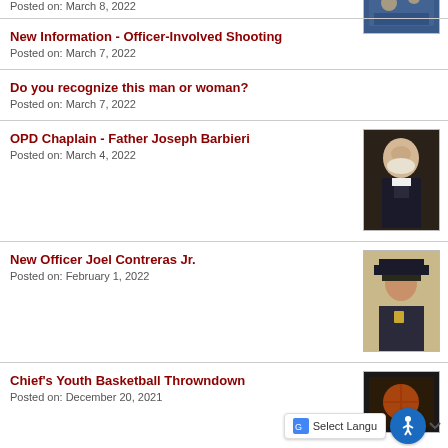Posted on: March 8, 2022
New Information - Officer-Involved Shooting
Posted on: March 7, 2022
Do you recognize this man or woman?
Posted on: March 7, 2022
OPD Chaplain - Father Joseph Barbieri
Posted on: March 4, 2022
[Figure (photo): Portrait of Father Joseph Barbieri in clerical attire]
New Officer Joel Contreras Jr.
Posted on: February 1, 2022
[Figure (photo): Portrait of Officer Joel Contreras Jr. in uniform]
Chief's Youth Basketball Throwndown
Posted on: December 20, 2021